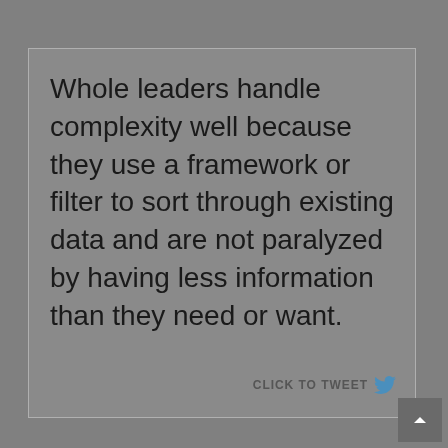Whole leaders handle complexity well because they use a framework or filter to sort through existing data and are not paralyzed by having less information than they need or want.
[Figure (screenshot): Click to Tweet button with Twitter bird icon in bottom right of card]